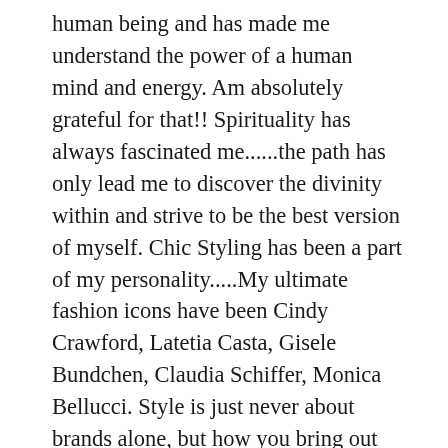human being and has made me understand the power of a human mind and energy. Am absolutely grateful for that!! Spirituality has always fascinated me......the path has only lead me to discover the divinity within and strive to be the best version of myself. Chic Styling has been a part of my personality.....My ultimate fashion icons have been Cindy Crawford, Latetia Casta, Gisele Bundchen, Claudia Schiffer, Monica Bellucci. Style is just never about brands alone, but how you bring out the best, by embracing yourself, keeping fit and understanding your body and styling it with a fabulous ensemble of fabric and accessories. My love for fitness has always inspired me to push limits to achieve higher goals. I believe